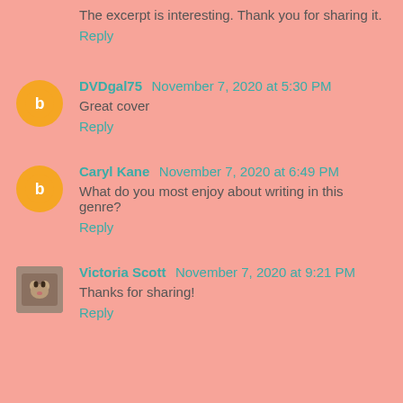The excerpt is interesting. Thank you for sharing it.
Reply
DVDgal75 November 7, 2020 at 5:30 PM
Great cover
Reply
Caryl Kane November 7, 2020 at 6:49 PM
What do you most enjoy about writing in this genre?
Reply
Victoria Scott November 7, 2020 at 9:21 PM
Thanks for sharing!
Reply